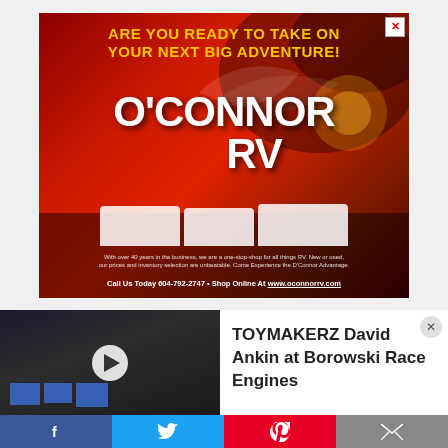[Figure (infographic): O'Connor RV advertisement banner with red background, yellow headline 'ARE YOU READY TO TAKE ON YOUR NEXT BIG ADVENTURE!', large white O'Connor RV logo, RV vehicle silhouettes, and contact info including phone 604-792-2747 and website www.oconnorrv.com]
[Figure (screenshot): Video thumbnail showing people working at computer screens in a dark room with a play button overlay]
TOYMAKERZ David Ankin at Borowski Race Engines
[Figure (infographic): Social media share bar with four buttons: Facebook (blue), Twitter (blue), Pinterest (red), Email (grey)]